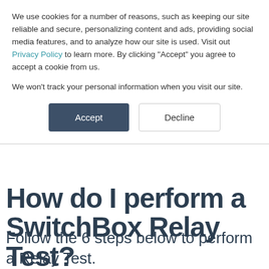We use cookies for a number of reasons, such as keeping our site reliable and secure, personalizing content and ads, providing social media features, and to analyze how our site is used. Visit out Privacy Policy to learn more. By clicking "Accept" you agree to accept a cookie from us.
We won't track your personal information when you visit our site.
Accept | Decline (buttons)
How do I perform a SwitchBox Relay Test?
Follow the 6 steps below to perform a Relay Test.
Note: If you want to do a P-line test with your SwitchBox, please see this article